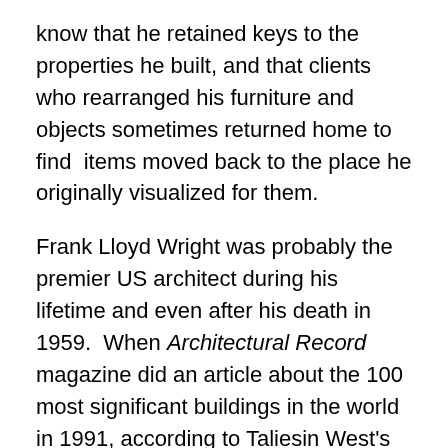know that he retained keys to the properties he built, and that clients who rearranged his furniture and objects sometimes returned home to find  items moved back to the place he originally visualized for them.
Frank Lloyd Wright was probably the premier US architect during his lifetime and even after his death in 1959.  When Architectural Record magazine did an article about the 100 most significant buildings in the world in 1991, according to Taliesin West's interpretive guide, 11 of them had been designed by him.
After staying in the desert for 5 or 6 months for several years to avoid Wisconsin winters, Frank Lloyd Wright decided to move his sleeping quarters inside, and he created a small all-aluminum bathroom crafted from